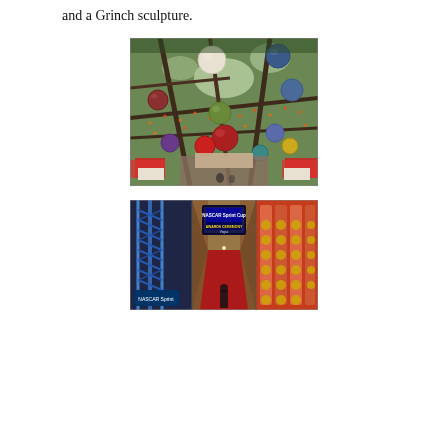and a Grinch sculpture.
[Figure (photo): Looking up through trees decorated with colorful large ornament ball decorations (white, blue, red, yellow, green) and string lights. Red poinsettia flowers visible at the base. Indoor garden or conservatory setting.]
[Figure (photo): NASCAR Sprint Cup Series Awards Ceremony in Las Vegas. Three-panel image showing: left panel with blue structural truss/scaffolding and NASCAR Sprint logo; center panel with large display screen showing 'NASCAR Sprint Cup AWARDS CEREMONY Las Vegas' branding with a long corridor of lights in background; right panel with red carpet area and sponsor logos/step-and-repeat backdrop.]